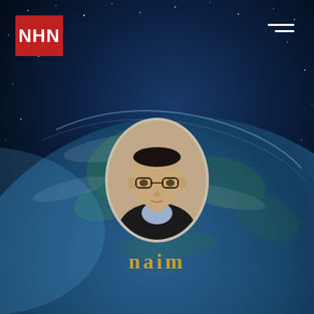[Figure (illustration): Dark space/Earth globe background with stars and atmosphere glow]
[Figure (logo): NHN logo — white letters on red square background, top left]
[Figure (photo): Oval-framed portrait photo of a man wearing glasses and dark jacket, centered on page]
naim